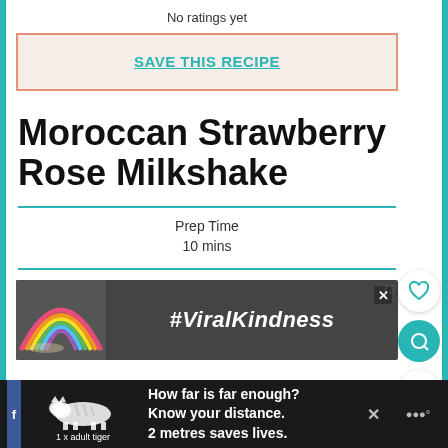No ratings yet
SAVE THIS RECIPE
Moroccan Strawberry Rose Milkshake
Prep Time
10 mins
[Figure (screenshot): Advertisement banner with rainbow chalk drawing and text #ViralKindness on dark background]
[Figure (screenshot): Bottom advertisement: tiger illustration with text '1 x adult tiger', 'How far is far enough? Know your distance. 2 metres saves lives.']